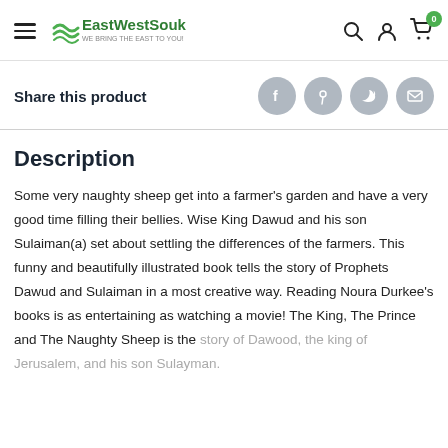EastWestSouk — We bring the East to you!
Share this product
Description
Some very naughty sheep get into a farmer's garden and have a very good time filling their bellies. Wise King Dawud and his son Sulaiman(a) set about settling the differences of the farmers. This funny and beautifully illustrated book tells the story of Prophets Dawud and Sulaiman in a most creative way. Reading Noura Durkee's books is as entertaining as watching a movie! The King, The Prince and The Naughty Sheep is the story of Dawood, the king of Jerusalem, and his son Sulayman.